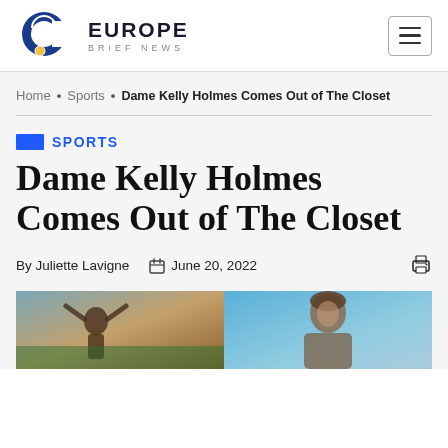EUROPE BRIEF NEWS
Home • Sports • Dame Kelly Holmes Comes Out of The Closet
SPORTS
Dame Kelly Holmes Comes Out of The Closet
By Juliette Lavigne  June 20, 2022
[Figure (photo): Two side-by-side photos of Dame Kelly Holmes: left photo shows her celebrating at an athletics track, right photo shows a more recent portrait.]